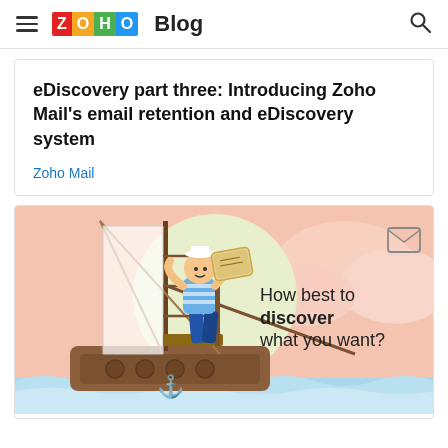ZOHO Blog
eDiscovery part three: Introducing Zoho Mail's email retention and eDiscovery system
Zoho Mail
[Figure (illustration): Illustration of a cartoon sailor on a wooden ship holding a treasure map, with text overlay reading 'How best to discover what you want?' on a pink/sunset sky background with blue ocean waves.]